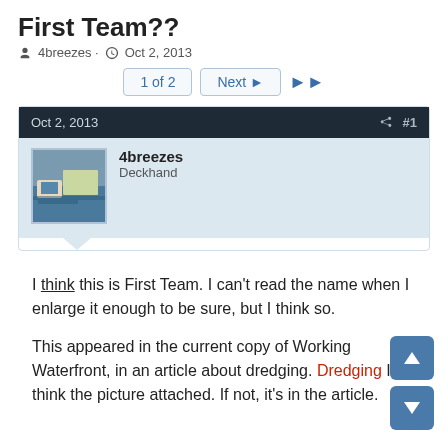First Team??
4breezes · Oct 2, 2013
1 of 2   Next ▶   ▶▶
Oct 2, 2013   #1
4breezes
Deckhand
I think this is First Team. I can't read the name when I enlarge it enough to be sure, but I think so.

This appeared in the current copy of Working Waterfront, in an article about dredging. Dredging I think the picture attached. If not, it's in the article.